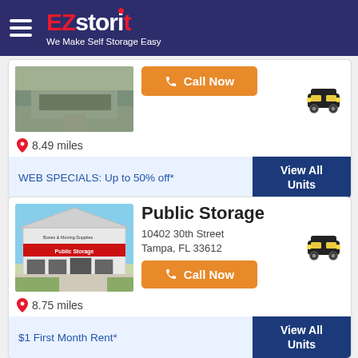[Figure (logo): EZstorit logo with tagline 'We Make Self Storage Easy' on dark navy header with hamburger menu]
[Figure (photo): Photo of a storage facility exterior with driveway and greenery]
Call Now
8.49 miles
WEB SPECIALS: Up to 50% off*
View All Units
Public Storage
10402 30th Street
Tampa, FL 33612
[Figure (photo): Photo of Public Storage building exterior, white building with Public Storage sign]
Call Now
8.75 miles
$1 First Month Rent*
View All Units